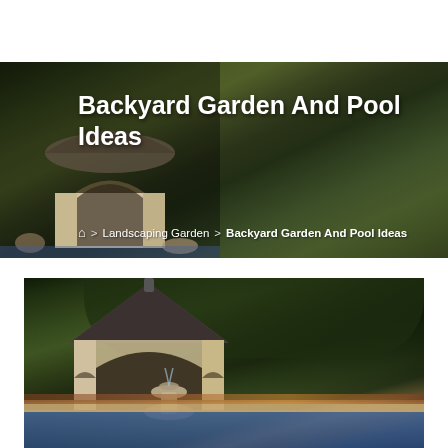[Figure (photo): Hero banner showing a backyard garden with a stone gazebo/pavilion structure with arched openings, surrounded by lush green trees and plants, with a pool area visible. Overlaid with page title and breadcrumb navigation text.]
Backyard Garden And Pool Ideas
🏠 > Landscaping Garden > Backyard Garden And Pool Ideas
[Figure (photo): Second photo showing a detailed view of a stone gazebo/pavilion with conical dark roof and arched openings, a fountain/urn feature in the foreground, surrounded by lush green garden plantings and trees, with a blue swimming pool in the lower foreground and a stone retaining wall.]